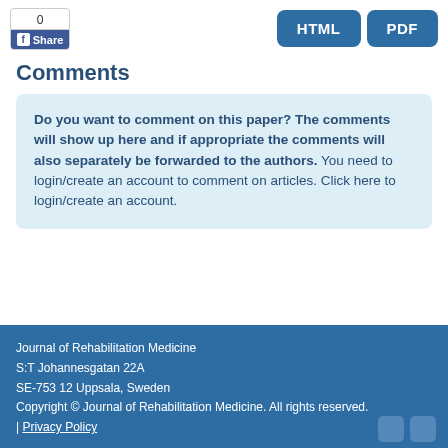[Figure (other): Facebook share button with count 0]
[Figure (other): HTML and PDF download buttons]
Comments
Do you want to comment on this paper? The comments will show up here and if appropriate the comments will also separately be forwarded to the authors. You need to login/create an account to comment on articles. Click here to login/create an account.
Journal of Rehabilitation Medicine
S:T Johannesgatan 22A
SE-753 12 Uppsala, Sweden
Copyright © Journal of Rehabilitation Medicine. All rights reserved.
| Privacy Policy